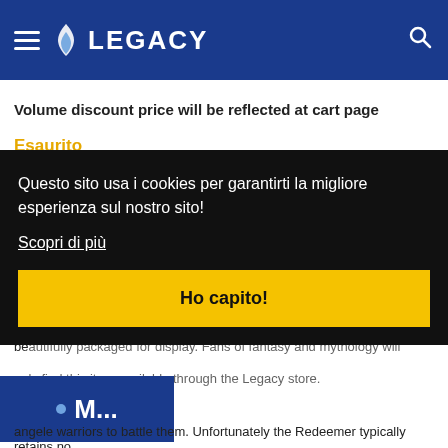[Figure (screenshot): Legacy website header with blue background, hamburger menu icon, Legacy flame logo, and search icon]
Volume discount price will be reflected at cart page
Esaurito
Descrizione    Shipping & Returns
Questo sito usa i cookies per garantirti la migliore esperienza sul nostro sito!
Scopri di più
Ho capito!
M...
angele warriors to battle them. Unfortunately the Redeemer typically retains no